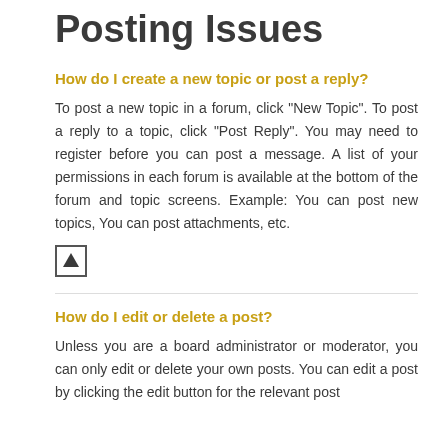Posting Issues
How do I create a new topic or post a reply?
To post a new topic in a forum, click "New Topic". To post a reply to a topic, click "Post Reply". You may need to register before you can post a message. A list of your permissions in each forum is available at the bottom of the forum and topic screens. Example: You can post new topics, You can post attachments, etc.
[Figure (other): Up arrow icon in a square border (top-of-page navigation icon)]
How do I edit or delete a post?
Unless you are a board administrator or moderator, you can only edit or delete your own posts. You can edit a post by clicking the edit button for the relevant post